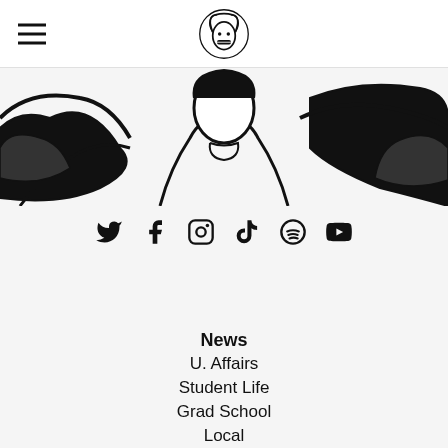Navigation menu header with hamburger icon and publication logo
[Figure (illustration): Black and white ink illustration of a figure with flowing hair, cropped at top portion of page]
[Figure (infographic): Social media icons row: Twitter, Facebook, Instagram, TikTok, Spotify, YouTube]
SUBSCRIBE
News
U. Affairs
Student Life
Grad School
Local
Alumni
Q&A
Activism
USG
Research
Academics
Obituaries